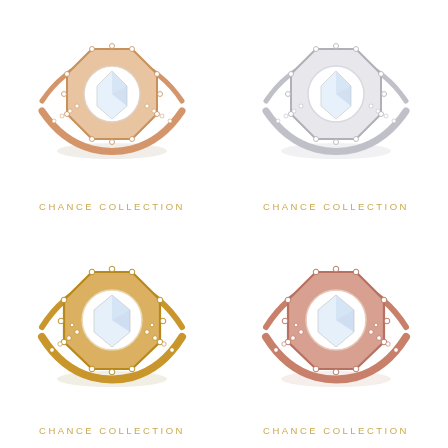[Figure (photo): Rose gold diamond halo ring, top-left, partially cropped at top]
CHANCE COLLECTION
[Figure (photo): White/silver diamond halo ring, top-right, partially cropped at top]
CHANCE COLLECTION
[Figure (photo): Yellow gold diamond halo ring, bottom-left]
CHANCE COLLECTION
[Figure (photo): Rose gold diamond halo ring, bottom-right]
CHANCE COLLECTION